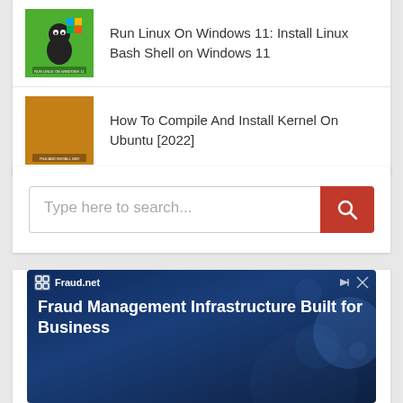Run Linux On Windows 11: Install Linux Bash Shell on Windows 11
How To Compile And Install Kernel On Ubuntu [2022]
[Figure (screenshot): Search bar with placeholder 'Type here to search...' and a red search button with a magnifying glass icon]
[Figure (infographic): Fraud.net advertisement banner with dark blue background showing 'Fraud Management Infrastructure Built for Business']